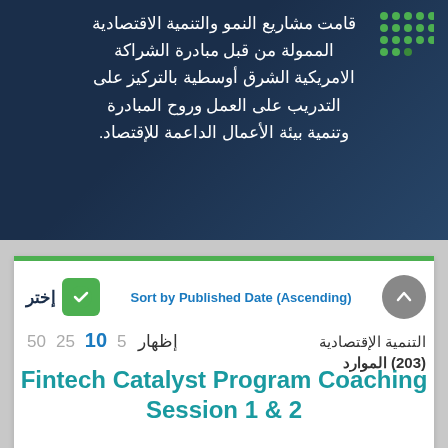[Figure (logo): Green dot grid logo in top-right corner of dark blue header]
قامت مشاريع النمو والتنمية الاقتصادية الممولة من قبل مبادرة الشراكة الامريكية الشرق أوسطية بالتركيز على التدريب على العمل وروح المبادرة وتنمية بيئة الأعمال الداعمة للإقتصاد.
Sort by Published Date (Ascending)
إختر
إظهار 5 10 25 50
التنمية الإقتصادية الموارد (203)
Fintech Catalyst Program Coaching Session 1 & 2